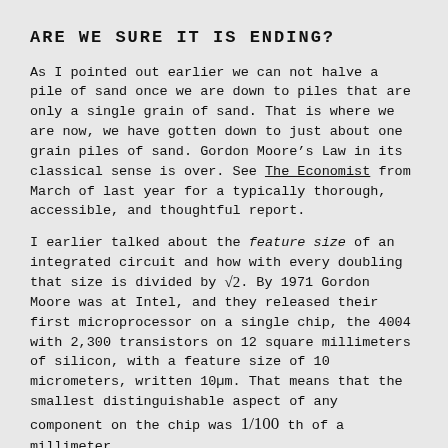ARE WE SURE IT IS ENDING?
As I pointed out earlier we can not halve a pile of sand once we are down to piles that are only a single grain of sand. That is where we are now, we have gotten down to just about one grain piles of sand. Gordon Moore’s Law in its classical sense is over. See The Economist from March of last year for a typically thorough, accessible, and thoughtful report.
I earlier talked about the feature size of an integrated circuit and how with every doubling that size is divided by √2. By 1971 Gordon Moore was at Intel, and they released their first microprocessor on a single chip, the 4004 with 2,300 transistors on 12 square millimeters of silicon, with a feature size of 10 micrometers, written 10μm. That means that the smallest distinguishable aspect of any component on the chip was 1/100 th of a millimeter.
Since then the feature size has regularly been reduced by a factor of 1/√2, or reduced to 71% of its previous size, doubling the number of components in a given area, on a clockwork schedule. The schedule clock has however slowed down. Back in the era of